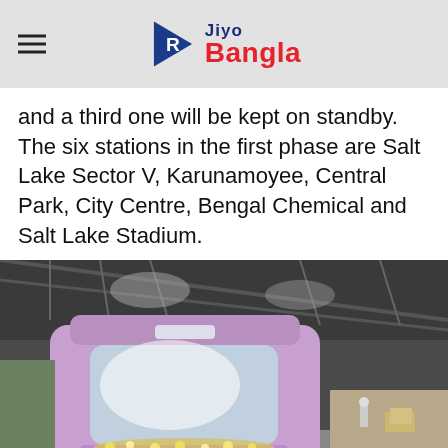Jiyo Bangla
and a third one will be kept on standby. The six stations in the first phase are Salt Lake Sector V, Karunamoyee, Central Park, City Centre, Bengal Chemical and Salt Lake Stadium.
[Figure (photo): A purple/lilac metro train decorated with flower garlands at the front, standing at a station platform with metal roof structure visible overhead. The train is facing forward with a windshield and flower decorations on its front.]